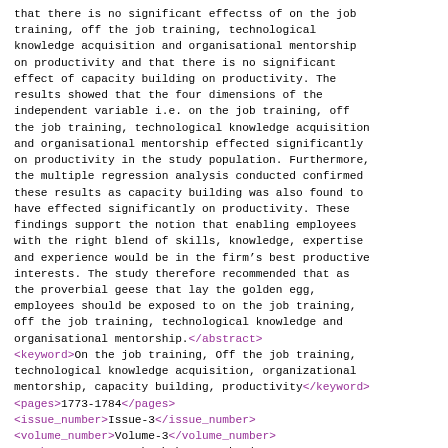that there is no significant effectss of on the job training, off the job training, technological knowledge acquisition and organisational mentorship on productivity and that there is no significant effect of capacity building on productivity. The results showed that the four dimensions of the independent variable i.e. on the job training, off the job training, technological knowledge acquisition and organisational mentorship effected significantly on productivity in the study population. Furthermore, the multiple regression analysis conducted confirmed these results as capacity building was also found to have effected significantly on productivity. These findings support the notion that enabling employees with the right blend of skills, knowledge, expertise and experience would be in the firm's best productive interests. The study therefore recommended that as the proverbial geese that lay the golden egg, employees should be exposed to on the job training, off the job training, technological knowledge and organisational mentorship.</abstract> <keyword>On the job training, Off the job training, technological knowledge acquisition, organizational mentorship, capacity building, productivity</keyword> <pages>1773-1784</pages> <issue_number>Issue-3</issue_number> <volume_number>Volume-3</volume_number> <authors>ESIONE, Uchechukwu Onyeka | Dr. M. N. Okeke</authors> </article>